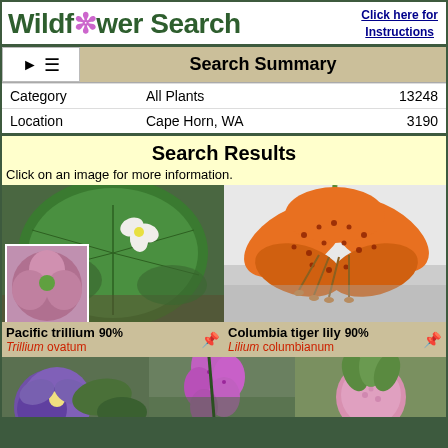Wildflower Search
Click here for Instructions
Search Summary
|  |  |  |
| --- | --- | --- |
| Category | All Plants | 13248 |
| Location | Cape Horn, WA | 3190 |
Search Results
Click on an image for more information.
[Figure (photo): Pacific trillium plant with large green leaf and small white flower, with thumbnail overlay of pink flower. 90% match.]
[Figure (photo): Columbia tiger lily with large orange spotted flower. 90% match.]
[Figure (photo): Purple wildflower (violet), partial view at bottom.]
[Figure (photo): Pink/purple foxglove flowers, partial view at bottom.]
[Figure (photo): Pink round flower bud, partial view at bottom.]